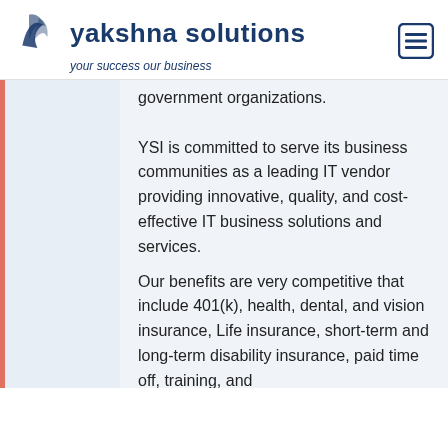yakshna solutions — your success our business
government organizations. YSI is committed to serve its business communities as a leading IT vendor providing innovative, quality, and cost-effective IT business solutions and services.
Our benefits are very competitive that include 401(k), health, dental, and vision insurance, Life insurance, short-term and long-term disability insurance, paid time off, training, and